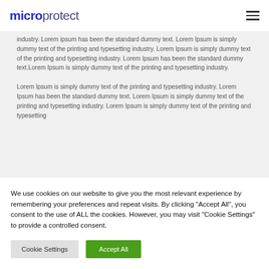microprotect
industry. Lorem ipsum has been the standard dummy text. Lorem Ipsum is simply dummy text of the printing and typesetting industry. Lorem Ipsum is simply dummy text of the printing and typesetting industry. Lorem Ipsum has been the standard dummy text.Lorem Ipsum is simply dummy text of the printing and typesetting industry.

Lorem Ipsum is simply dummy text of the printing and typesetting industry. Lorem Ipsum has been the standard dummy text. Lorem Ipsum is simply dummy text of the printing and typesetting industry. Lorem Ipsum is simply dummy text of the printing and typesetting
We use cookies on our website to give you the most relevant experience by remembering your preferences and repeat visits. By clicking "Accept All", you consent to the use of ALL the cookies. However, you may visit "Cookie Settings" to provide a controlled consent.